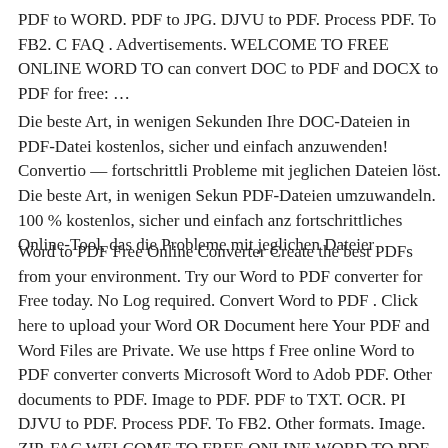PDF to WORD. PDF to JPG. DJVU to PDF. Process PDF. To FB2. C FAQ . Advertisements. WELCOME TO FREE ONLINE WORD TO can convert DOC to PDF and DOCX to PDF for free: …
Die beste Art, in wenigen Sekunden Ihre DOC-Dateien in PDF-Datei kostenlos, sicher und einfach anzuwenden! Convertio — fortschrittli Probleme mit jeglichen Dateien löst. Die beste Art, in wenigen Seku PDF-Dateien umzuwandeln. 100 % kostenlos, sicher und einfach anz fortschrittliches Online-Tool, das die Probleme mit jeglichen Dateier
Word to PDF Free Online Converter Create the best PDFs from your environment. Try our Word to PDF converter for Free today. No Log required. Convert Word to PDF . Click here to upload your Word OR Document here Your PDF and Word Files are Private. We use https f Free online Word to PDF converter converts Microsoft Word to Adob PDF. Other documents to PDF. Image to PDF. PDF to TXT. OCR. PI DJVU to PDF. Process PDF. To FB2. Other formats. Image. ZIP. FAG WELCOME TO FREE ONLINE WORD TO PDF CONVERTER : Y and DOCX to PDF for free: …